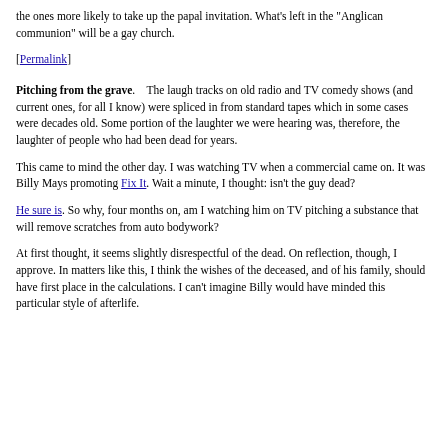the ones more likely to take up the papal invitation. What's left in the "Anglican communion" will be a gay church.
[Permalink]
Pitching from the grave.    The laugh tracks on old radio and TV comedy shows (and current ones, for all I know) were spliced in from standard tapes which in some cases were decades old. Some portion of the laughter we were hearing was, therefore, the laughter of people who had been dead for years.
This came to mind the other day. I was watching TV when a commercial came on. It was Billy Mays promoting Fix It. Wait a minute, I thought: isn't the guy dead?
He sure is. So why, four months on, am I watching him on TV pitching a substance that will remove scratches from auto bodywork?
At first thought, it seems slightly disrespectful of the dead. On reflection, though, I approve. In matters like this, I think the wishes of the deceased, and of his family, should have first place in the calculations. I can't imagine Billy would have minded this particular style of afterlife.